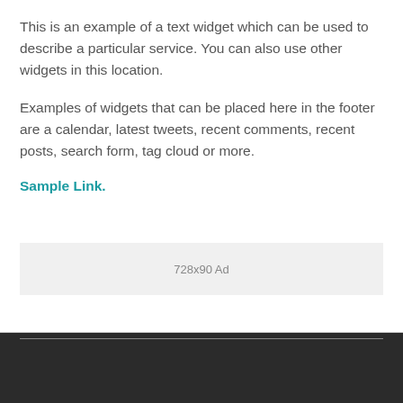This is an example of a text widget which can be used to describe a particular service. You can also use other widgets in this location.
Examples of widgets that can be placed here in the footer are a calendar, latest tweets, recent comments, recent posts, search form, tag cloud or more.
Sample Link.
[Figure (other): 728x90 Ad placeholder banner with light gray background]